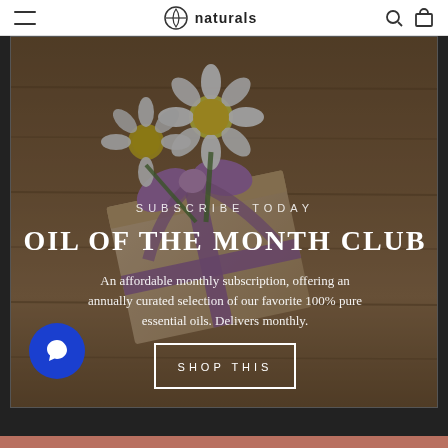naturals
[Figure (photo): Hero banner image showing a kraft paper gift box with a purple/lavender ribbon bow and white daisy flowers on top, placed on a wooden surface background. Overlay text reads: SUBSCRIBE TODAY / OIL OF THE MONTH CLUB / An affordable monthly subscription, offering an annually curated selection of our favorite 100% pure essential oils. Delivers monthly. / SHOP THIS]
OIL OF THE MONTH CLUB
SUBSCRIBE TODAY
An affordable monthly subscription, offering an annually curated selection of our favorite 100% pure essential oils. Delivers monthly.
SHOP THIS